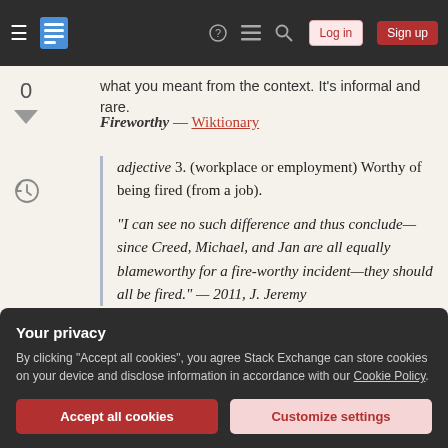Stack Exchange navigation bar with Log in and Sign up buttons
what you meant from the context. It's informal and rare.
Fireworthy — Wiktionary
adjective 3. (workplace or employment) Worthy of being fired (from a job).
"I can see no such difference and thus conclude—since Creed, Michael, and Jan are all equally blameworthy for a fire-worthy incident—they should all be fired." — 2011, J. Jeremy
Your privacy
By clicking "Accept all cookies", you agree Stack Exchange can store cookies on your device and disclose information in accordance with our Cookie Policy.
Accept all cookies
Customize settings